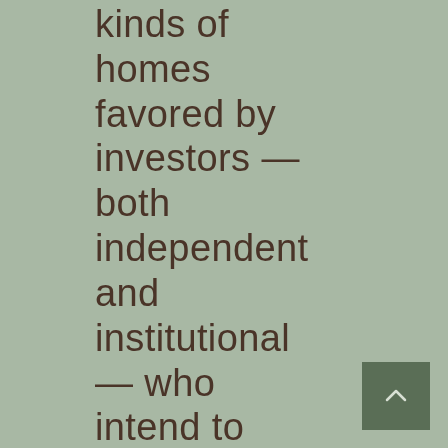kinds of homes favored by investors — both independent and institutional — who intend to rent them or renovate and flip them.